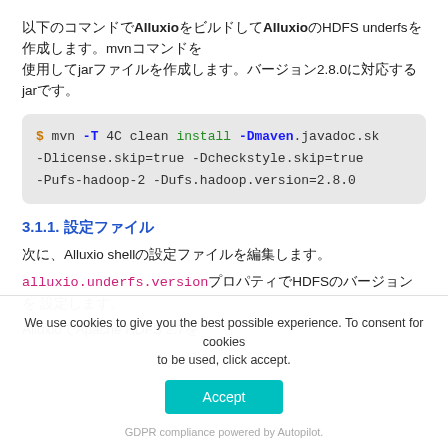以下のコマンドでAlluxioをビルドしてAlluxioのHDFS underfsを作成します。mvnコマンドを使用してjarファイルを作成します。バージョン2.8.0に対応するjarです。
[Figure (screenshot): Code block showing mvn command: $ mvn -T 4C clean install -Dmaven.javadoc.skip=true -Dlicense.skip=true -Dcheckstyle.skip=true -Pufs-hadoop-2 -Dufs.hadoop.version=2.8.0]
3.1.1. 設定ファイル
次に、Alluxio shellの設定ファイルを編集します。
alluxio.underfs.versionプロパティでHDFSのバージョンを設定します。
AlluxioでApache HDFS 2.7を...
We use cookies to give you the best possible experience. To consent for cookies to be used, click accept.
Accept
GDPR compliance powered by Autopilot.